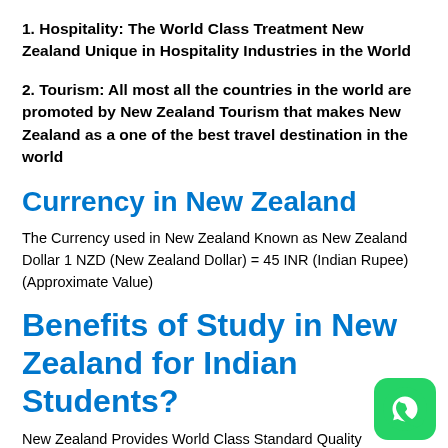1. Hospitality: The World Class Treatment New Zealand Unique in Hospitality Industries in the World
2. Tourism: All most all the countries in the world are promoted by New Zealand Tourism that makes New Zealand as a one of the best travel destination in the world
Currency in New Zealand
The Currency used in New Zealand Known as New Zealand Dollar 1 NZD (New Zealand Dollar) = 45 INR (Indian Rupee) (Approximate Value)
Benefits of Study in New Zealand for Indian Students?
New Zealand Provides World Class Standard Quality